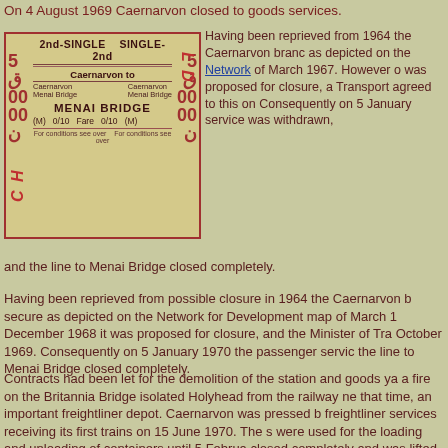On 4 August 1969 Caernarvon closed to goods services.
[Figure (other): A railway ticket: 2nd-SINGLE SINGLE-2nd, Caernarvon to MENAI BRIDGE, fare 0/10, for conditions see over]
Having been reprieved from possible closure in 1964 the Caernarvon branch was as secure as depicted on the Network for Development map of March 1967. However on December 1968 it was proposed for closure, and the Minister of Transport agreed to this on October 1969. Consequently on 5 January 1970 the passenger service was withdrawn, and the line to Menai Bridge closed completely.
Having been reprieved from possible closure in 1964 the Caernarvon branch was secure as depicted on the Network for Development map of March 1967. However in December 1968 it was proposed for closure, and the Minister of Transport agreed to this on October 1969. Consequently on 5 January 1970 the passenger service was withdrawn, and the line to Menai Bridge closed completely.
Contracts had been let for the demolition of the station and goods yard when a fire on the Britannia Bridge isolated Holyhead from the railway network. Holyhead was, at that time, an important freightliner depot. Caernarvon was pressed back into use for freightliner services receiving its first trains on 15 June 1970. The station and goods yard were used for the loading and unloading of containers until 5 February 1972, when it closed completely and was lifted shortly after.